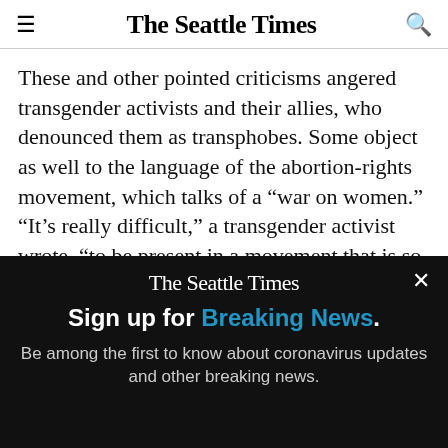The Seattle Times
These and other pointed criticisms angered transgender activists and their allies, who denounced them as transphobes. Some object as well to the language of the abortion-rights movement, which talks of a “war on women.” “It’s really difficult,” a transgender activist wrote, “to be present in a movement that is so incredibly cissexist.”
In New York City, the progressive Working Families
[Figure (screenshot): The Seattle Times newsletter sign-up overlay banner on a black background with a close (X) button, logo, and text: Sign up for Breaking News. Be among the first to know about coronavirus updates and other breaking news.]